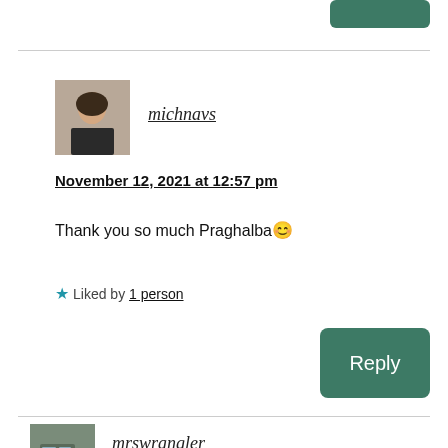[Figure (photo): Green Reply button at top right, partially visible]
[Figure (photo): Profile avatar photo of michnavs, woman with dark hair]
michnavs
November 12, 2021 at 12:57 pm
Thank you so much Praghalba😊
★ Liked by 1 person
[Figure (screenshot): Green Reply button]
[Figure (photo): Profile avatar photo of mrswrangler, truck image]
mrswrangler